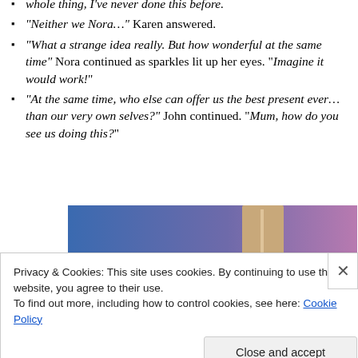whole thing, I've never done this before.
“Neither we Nora…” Karen answered.
“What a strange idea really. But how wonderful at the same time” Nora continued as sparkles lit up her eyes. “Imagine it would work!”
“At the same time, who else can offer us the best present ever…than our very own selves?” John continued. “Mum, how do you see us doing this?”
[Figure (photo): Partial photo showing a gradient background blending blue and purple/pink tones, with a tan/beige rectangular object visible on the right side.]
Privacy & Cookies: This site uses cookies. By continuing to use this website, you agree to their use.
To find out more, including how to control cookies, see here: Cookie Policy
Close and accept